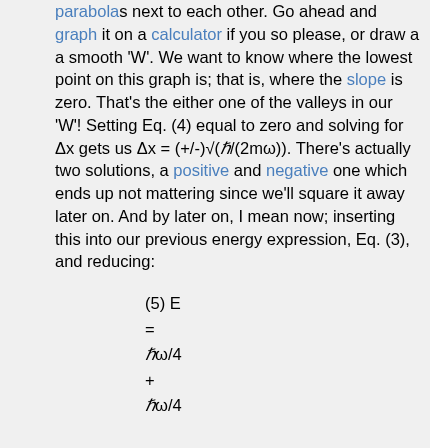parabolas next to each other. Go ahead and graph it on a calculator if you so please, or draw a a smooth 'W'. We want to know where the lowest point on this graph is; that is, where the slope is zero. That's the either one of the valleys in our 'W'! Setting Eq. (4) equal to zero and solving for Δx gets us Δx = (+/-)√(ℏ/(2mω)). There's actually two solutions, a positive and negative one which ends up not mattering since we'll square it away later on. And by later on, I mean now; inserting this into our previous energy expression, Eq. (3), and reducing: